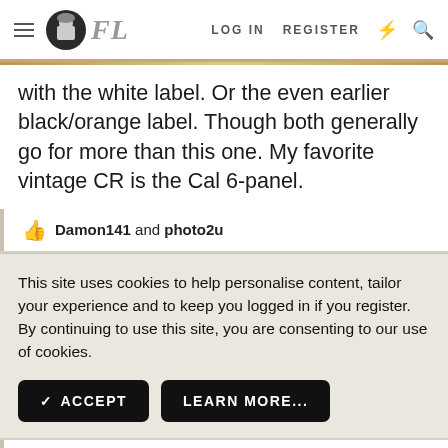FL — LOG IN   REGISTER
with the white label. Or the even earlier black/orange label. Though both generally go for more than this one. My favorite vintage CR is the Cal 6-panel.
👍 Damon141 and photo2u
This site uses cookies to help personalise content, tailor your experience and to keep you logged in if you register. By continuing to use this site, you are consenting to our use of cookies.
✓ ACCEPT   LEARN MORE...
JMax said: ↑
My bet is that you will be happier with an earlier HD CR with the